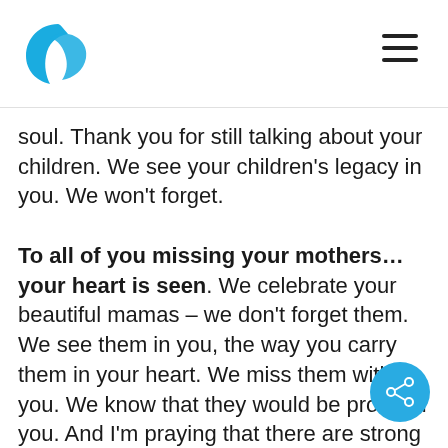[Logo and navigation header]
soul. Thank you for still talking about your children. We see your children's legacy in you. We won't forget.
To all of you missing your mothers… your heart is seen. We celebrate your beautiful mamas – we don't forget them. We see them in you, the way you carry them in your heart. We miss them with you. We know that they would be proud of you. And I'm praying that there are strong and beautiful and selfless women who step into your pain, who walk alongside you, who mother you and befriend you